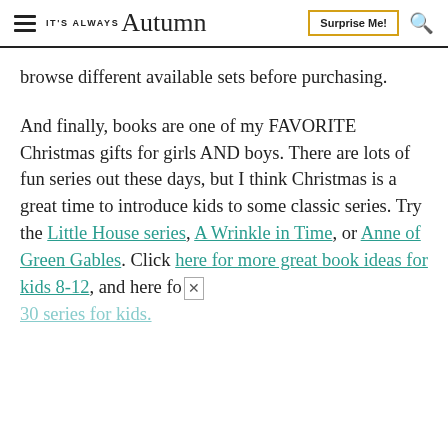IT'S ALWAYS Autumn | Surprise Me! | [search]
browse different available sets before purchasing.
And finally, books are one of my FAVORITE Christmas gifts for girls AND boys. There are lots of fun series out these days, but I think Christmas is a great time to introduce kids to some classic series. Try the Little House series, A Wrinkle in Time, or Anne of Green Gables. Click here for more great book ideas for kids 8-12, and here fo [x] 30 series for kids.